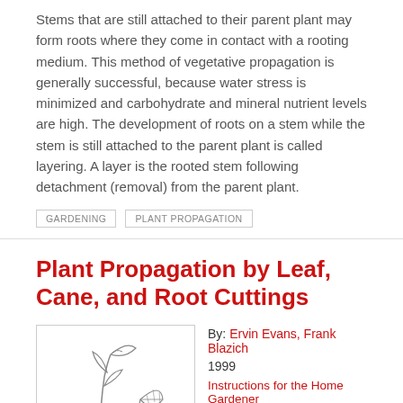Stems that are still attached to their parent plant may form roots where they come in contact with a rooting medium. This method of vegetative propagation is generally successful, because water stress is minimized and carbohydrate and mineral nutrient levels are high. The development of roots on a stem while the stem is still attached to the parent plant is called layering. A layer is the rooted stem following detachment (removal) from the parent plant.
GARDENING
PLANT PROPAGATION
Plant Propagation by Leaf, Cane, and Root Cuttings
[Figure (illustration): Line drawing illustration of a plant cutting in a pot with a leaf beside it]
By: Ervin Evans, Frank Blazich
1999
Instructions for the Home Gardener
Some, but not all, plants can be propagated from just a leaf or a section of a leaf. Leaf cuttings of most plants will not generate a new plant; they usually produce